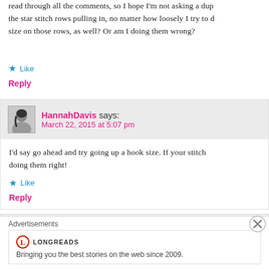read through all the comments, so I hope I'm not asking a dup the star stitch rows pulling in, no matter how loosely I try to d size on those rows, as well? Or am I doing them wrong?
★ Like
Reply
HannahDavis says: March 22, 2015 at 5:07 pm
I'd say go ahead and try going up a hook size. If your stitch doing them right!
★ Like
Reply
Cheryl says:
Advertisements
LONGREADS Bringing you the best stories on the web since 2009.